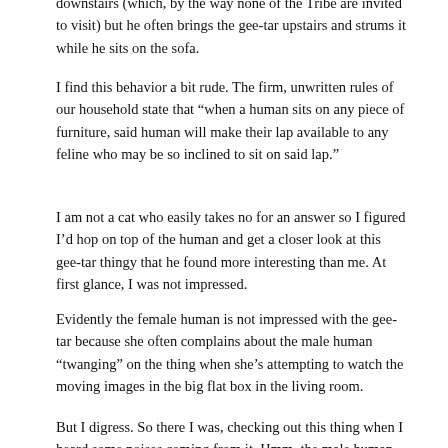downstairs (which, by the way none of the Tribe are invited to visit) but he often brings the gee-tar upstairs and strums it while he sits on the sofa.
I find this behavior a bit rude. The firm, unwritten rules of our household state that “when a human sits on any piece of furniture, said human will make their lap available to any feline who may be so inclined to sit on said lap.”
I am not a cat who easily takes no for an answer so I figured I’d hop on top of the human and get a closer look at this gee-tar thingy that he found more interesting than me. At first glance, I was not impressed.
Evidently the female human is not impressed with the gee-tar because she often complains about the male human “twanging” on the thing when she’s attempting to watch the moving images in the big flat box in the living room.
But I digress. So there I was, checking out this thing when I heard some noises coming from it. Hmm, the male human runs his fingers along the string things and noises come